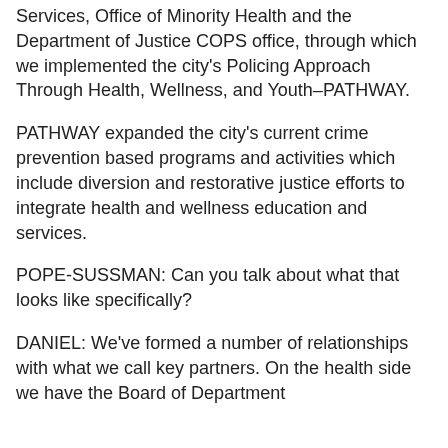Services, Office of Minority Health and the Department of Justice COPS office, through which we implemented the city's Policing Approach Through Health, Wellness, and Youth–PATHWAY.
PATHWAY expanded the city's current crime prevention based programs and activities which include diversion and restorative justice efforts to integrate health and wellness education and services.
POPE-SUSSMAN: Can you talk about what that looks like specifically?
DANIEL: We've formed a number of relationships with what we call key partners. On the health side we have the Board of Department